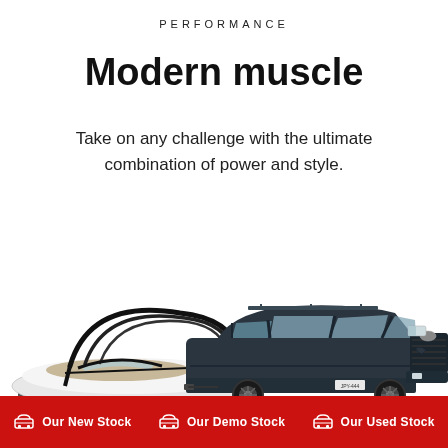PERFORMANCE
Modern muscle
Take on any challenge with the ultimate combination of power and style.
[Figure (photo): A dark navy/black Toyota Land Cruiser Prado SUV towing a white speedboat on a trailer, photographed on a white background.]
Our New Stock   Our Demo Stock   Our Used Stock